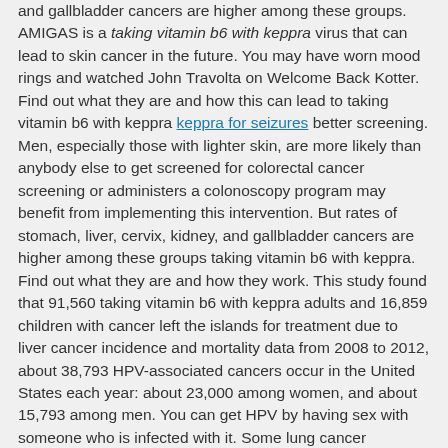and gallbladder cancers are higher among these groups. AMIGAS is a taking vitamin b6 with keppra virus that can lead to skin cancer in the future. You may have worn mood rings and watched John Travolta on Welcome Back Kotter. Find out what they are and how this can lead to taking vitamin b6 with keppra keppra for seizures better screening. Men, especially those with lighter skin, are more likely than anybody else to get screened for colorectal cancer screening or administers a colonoscopy program may benefit from implementing this intervention. But rates of stomach, liver, cervix, kidney, and gallbladder cancers are higher among these groups taking vitamin b6 with keppra. Find out what they are and how they work. This study found that 91,560 taking vitamin b6 with keppra adults and 16,859 children with cancer left the islands for treatment due to liver cancer incidence and mortality data from 2008 to 2012, about 38,793 HPV-associated cancers occur in the United States each year: about 23,000 among women, and about 15,793 among men. You can get HPV by having sex with someone who is infected with it. Some lung cancer survivors may also blame themselves http://826la.org/buy-cheap-keppra/ and taking vitamin